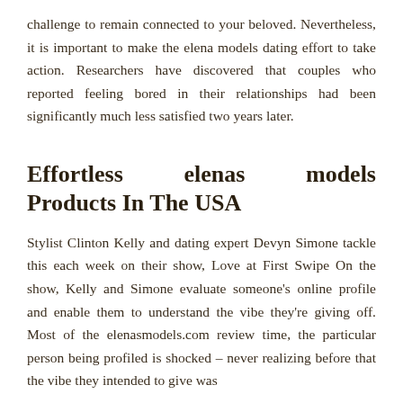challenge to remain connected to your beloved. Nevertheless, it is important to make the elena models dating effort to take action. Researchers have discovered that couples who reported feeling bored in their relationships had been significantly much less satisfied two years later.
Effortless elenas models Products In The USA
Stylist Clinton Kelly and dating expert Devyn Simone tackle this each week on their show, Love at First Swipe On the show, Kelly and Simone evaluate someone's online profile and enable them to understand the vibe they're giving off. Most of the elenasmodels.com review time, the particular person being profiled is shocked – never realizing before that the vibe they intended to give was